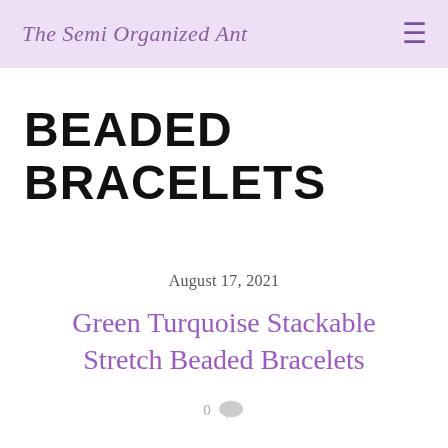The Semi Organized Ant
BEADED BRACELETS
August 17, 2021
Green Turquoise Stackable Stretch Beaded Bracelets
0